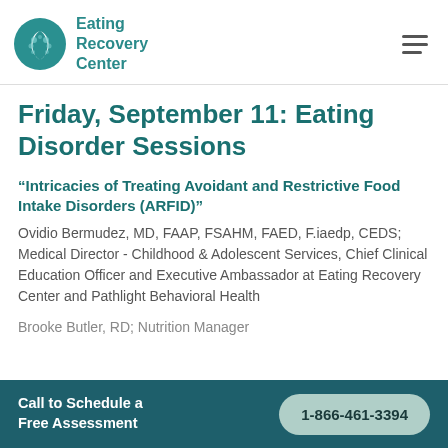Eating Recovery Center
Friday, September 11: Eating Disorder Sessions
“Intricacies of Treating Avoidant and Restrictive Food Intake Disorders (ARFID)”
Ovidio Bermudez, MD, FAAP, FSAHM, FAED, F.iaedp, CEDS; Medical Director - Childhood & Adolescent Services, Chief Clinical Education Officer and Executive Ambassador at Eating Recovery Center and Pathlight Behavioral Health
Brooke Butler, RD; Nutrition Manager
Call to Schedule a Free Assessment  1-866-461-3394